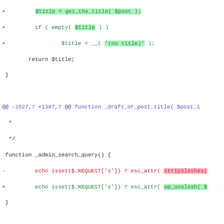[Figure (screenshot): Git diff view of PHP code showing added and removed lines with syntax highlighting. Shows functions _draft_or_post_title, _admin_search_query, and iframe_header with changes highlighted in green (additions) and red (removals).]